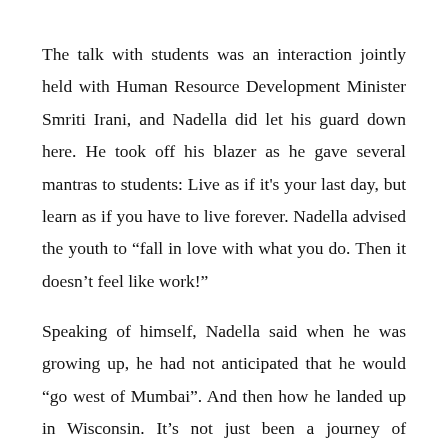The talk with students was an interaction jointly held with Human Resource Development Minister Smriti Irani, and Nadella did let his guard down here. He took off his blazer as he gave several mantras to students: Live as if it’s your last day, but learn as if you have to live forever. Nadella advised the youth to “fall in love with what you do. Then it doesn’t feel like work!”
Speaking of himself, Nadella said when he was growing up, he had not anticipated that he would “go west of Mumbai”. And then how he landed up in Wisconsin. It’s not just been a journey of progress, but there have been so many ups and downs.
Failure is something that Bezos spoke about at length.